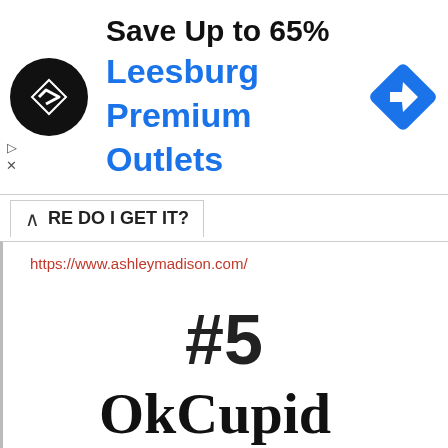[Figure (infographic): Advertisement banner for Leesburg Premium Outlets with circular logo, text 'Save Up to 65% Leesburg Premium Outlets', and a blue diamond navigation arrow icon on the right]
WHERE DO I GET IT?
https://www.ashleymadison.com/
#5
OkCupid